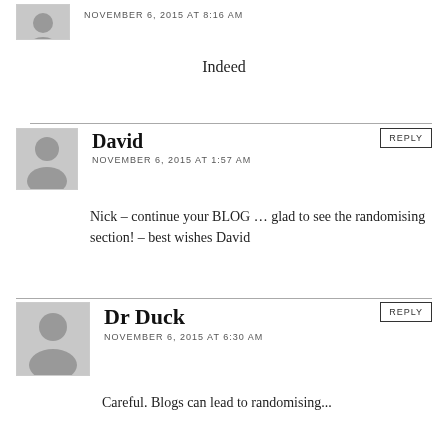NOVEMBER 6, 2015 AT 8:16 AM
Indeed
David
NOVEMBER 6, 2015 AT 1:57 AM
REPLY
Nick – continue your BLOG … glad to see the randomising section! – best wishes David
Dr Duck
NOVEMBER 6, 2015 AT 6:30 AM
REPLY
Careful. Blogs can lead to randomising...